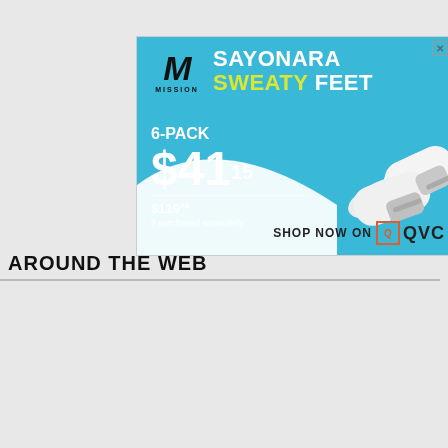[Figure (advertisement): Mission brand ad banner: sky-blue background with Mission M logo, 'SAYONARA SWEATY FEET' headline, 6-PACK $41.15 price, $119.94 if purchased separately, white no-show socks image, SHOP NOW ON QVC]
AROUND THE WEB
[Figure (advertisement): Second smaller Mission brand ad: white background with Mission M logo, SAYONARA SWEATY FEET in blue/dark text, 6-PACK $41.15, $119.94 if purchased separately, white socks, SHOP NOW ON QVC logo]